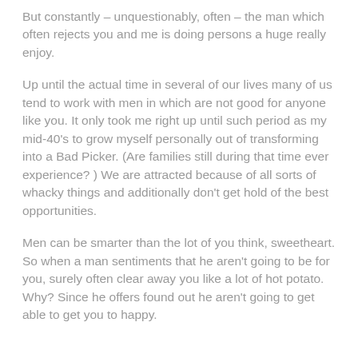But constantly – unquestionably, often – the man which often rejects you and me is doing persons a huge really enjoy.
Up until the actual time in several of our lives many of us tend to work with men in which are not good for anyone like you. It only took me right up until such period as my mid-40's to grow myself personally out of transforming into a Bad Picker. (Are families still during that time ever experience? ) We are attracted because of all sorts of whacky things and additionally don't get hold of the best opportunities.
Men can be smarter than the lot of you think, sweetheart. So when a man sentiments that he aren't going to be for you, surely often clear away you like a lot of hot potato. Why? Since he offers found out he aren't going to get able to get you to happy.